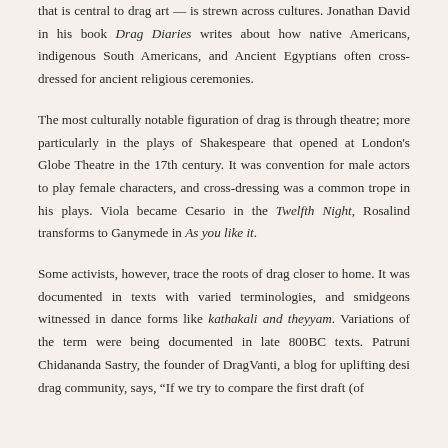that is central to drag art — is strewn across cultures. Jonathan David in his book Drag Diaries writes about how native Americans, indigenous South Americans, and Ancient Egyptians often cross-dressed for ancient religious ceremonies.
The most culturally notable figuration of drag is through theatre; more particularly in the plays of Shakespeare that opened at London's Globe Theatre in the 17th century. It was convention for male actors to play female characters, and cross-dressing was a common trope in his plays. Viola became Cesario in the Twelfth Night, Rosalind transforms to Ganymede in As you like it.
Some activists, however, trace the roots of drag closer to home. It was documented in texts with varied terminologies, and smidgeons witnessed in dance forms like kathakali and theyyam. Variations of the term were being documented in late 800BC texts. Patruni Chidananda Sastry, the founder of DragVanti, a blog for uplifting desi drag community, says, "If we try to compare the first draft (of